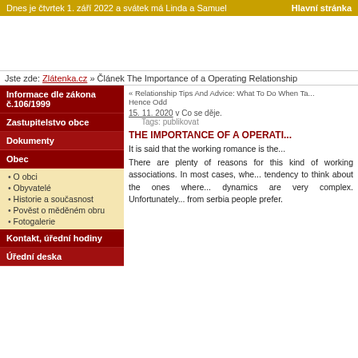Dnes je čtvrtek 1. září 2022 a svátek má Linda a Samuel    Hlavní stránka
Jste zde: Zlátenka.cz » Článek The Importance of a Operating Relationship
Informace dle zákona č.106/1999
Zastupitelstvo obce
Dokumenty
Obec
O obci
Obyvatelé
Historie a současnost
Pověst o měděném obru
Fotogalerie
Kontakt, úřední hodiny
Úřední deska
« Relationship Tips And Advice: What To Do When Ta... Hence Odd
15. 11. 2020 v Co se děje.
Tags: publikovat
THE IMPORTANCE OF A OPERATI...
It is said that the working romance is the...
There are plenty of reasons for this kind of working associations. In most cases, whe... tendency to think about the ones where... dynamics are very complex. Unfortunately... from serbia people prefer.